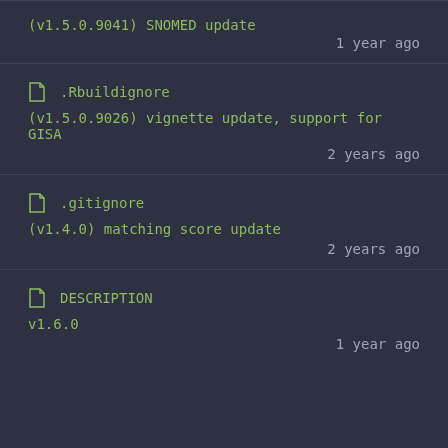(v1.5.0.9041) SNOMED update
1 year ago
.Rbuildignore
(v1.5.0.9026) vignette update, support for GISA
2 years ago
.gitignore
(v1.4.0) matching score update
2 years ago
DESCRIPTION
v1.6.0
1 year ago